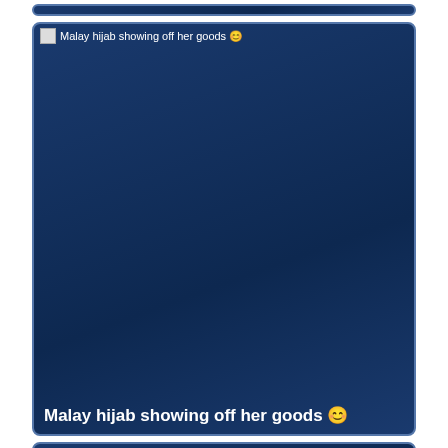[Figure (screenshot): Partial blue gradient card at the top of the page, truncated]
Malay hijab showing off her goods 😊
[Figure (screenshot): Blue gradient card with broken image icon and title 'Malay hijab showing off her goods' at top, same text label at bottom]
[Figure (screenshot): Blue gradient card with broken image icon and title 'Busty malay teen' at top, partially visible at bottom of page]